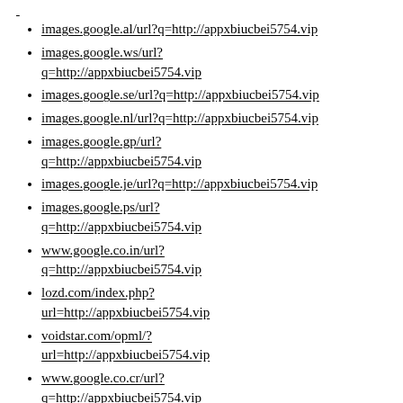images.google.al/url?q=http://appxbiucbei5754.vip
images.google.ws/url?q=http://appxbiucbei5754.vip
images.google.se/url?q=http://appxbiucbei5754.vip
images.google.nl/url?q=http://appxbiucbei5754.vip
images.google.gp/url?q=http://appxbiucbei5754.vip
images.google.je/url?q=http://appxbiucbei5754.vip
images.google.ps/url?q=http://appxbiucbei5754.vip
www.google.co.in/url?q=http://appxbiucbei5754.vip
lozd.com/index.php?url=http://appxbiucbei5754.vip
voidstar.com/opml/?url=http://appxbiucbei5754.vip
www.google.co.cr/url?q=http://appxbiucbei5754.vip